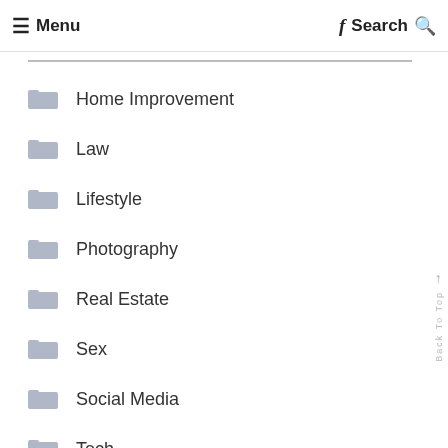≡ Menu  f  Search Q
Home Improvement
Law
Lifestyle
Photography
Real Estate
Sex
Social Media
Tech
Travel